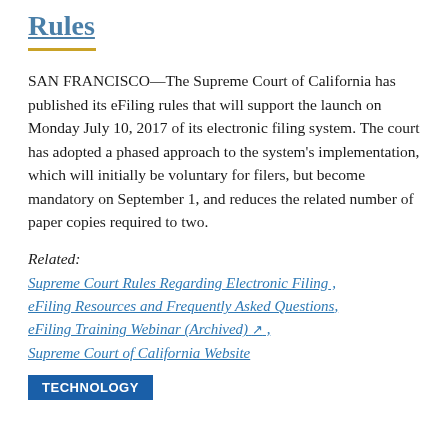Rules
SAN FRANCISCO—The Supreme Court of California has published its eFiling rules that will support the launch on Monday July 10, 2017 of its electronic filing system. The court has adopted a phased approach to the system's implementation, which will initially be voluntary for filers, but become mandatory on September 1, and reduces the related number of paper copies required to two.
Related:
Supreme Court Rules Regarding Electronic Filing ,
eFiling Resources and Frequently Asked Questions,
eFiling Training Webinar (Archived) ↗ ,
Supreme Court of California Website
TECHNOLOGY